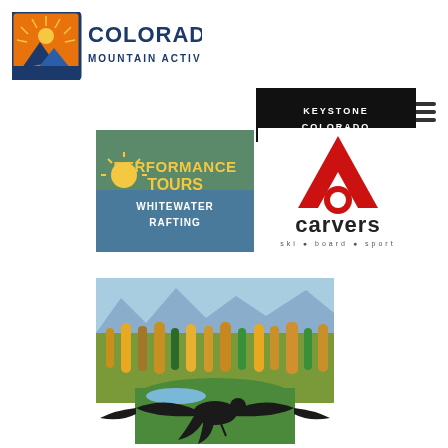[Figure (logo): Colorado Mountain Activities logo — orange/red mountain graphic with sunburst background in a square, next to bold blue text reading COLORADO MOUNTAIN ACTIVITIES]
[Figure (logo): Keystone Colorado logo — white text on black background reading KEYSTONE COLORADO]
[Figure (logo): Performance Tours Whitewater Rafting logo — yellow text on outdoor rafting photo background]
[Figure (logo): Carvers ski board sport logo — red angular triangle/letter A logo above text: carvers ski board sport]
[Figure (photo): Aerial or elevated landscape photo of a Colorado mountain golf course / valley with autumn foliage, mountains in background, and a large dark eagle sculpture silhouette in the foreground]